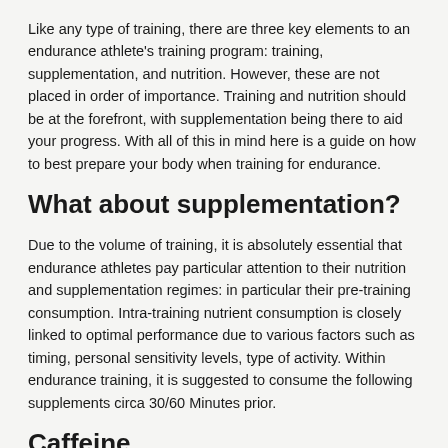Like any type of training, there are three key elements to an endurance athlete's training program: training, supplementation, and nutrition. However, these are not placed in order of importance. Training and nutrition should be at the forefront, with supplementation being there to aid your progress. With all of this in mind here is a guide on how to best prepare your body when training for endurance.
What about supplementation?
Due to the volume of training, it is absolutely essential that endurance athletes pay particular attention to their nutrition and supplementation regimes: in particular their pre-training consumption. Intra-training nutrient consumption is closely linked to optimal performance due to various factors such as timing, personal sensitivity levels, type of activity. Within endurance training, it is suggested to consume the following supplements circa 30/60 Minutes prior.
Caffeine